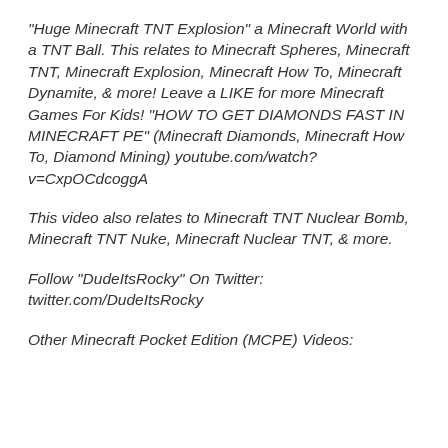"Huge Minecraft TNT Explosion" a Minecraft World with a TNT Ball. This relates to Minecraft Spheres, Minecraft TNT, Minecraft Explosion, Minecraft How To, Minecraft Dynamite, & more! Leave a LIKE for more Minecraft Games For Kids! "HOW TO GET DIAMONDS FAST IN MINECRAFT PE" (Minecraft Diamonds, Minecraft How To, Diamond Mining) youtube.com/watch?v=CxpOCdcoggA
This video also relates to Minecraft TNT Nuclear Bomb, Minecraft TNT Nuke, Minecraft Nuclear TNT, & more.
Follow "DudeItsRocky" On Twitter: twitter.com/DudeItsRocky
Other Minecraft Pocket Edition (MCPE) Videos: